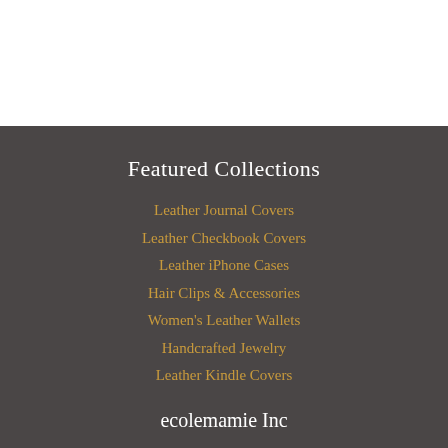Featured Collections
Leather Journal Covers
Leather Checkbook Covers
Leather iPhone Cases
Hair Clips & Accessories
Women's Leather Wallets
Handcrafted Jewelry
Leather Kindle Covers
ecolemamie Inc